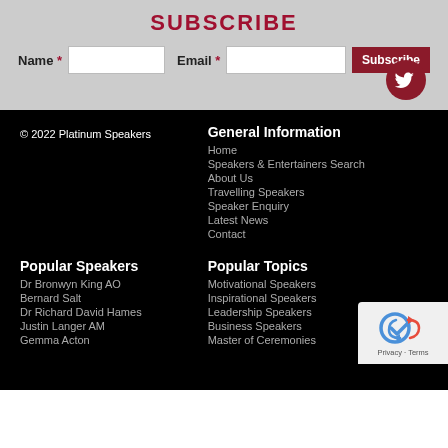SUBSCRIBE
Name * [input] Email * [input] Subscribe
[Figure (illustration): Twitter bird icon in dark red circle]
© 2022 Platinum Speakers
General Information
Home
Speakers & Entertainers Search
About Us
Travelling Speakers
Speaker Enquiry
Latest News
Contact
Popular Speakers
Dr Bronwyn King AO
Bernard Salt
Dr Richard David Hames
Justin Langer AM
Gemma Acton
Popular Topics
Motivational Speakers
Inspirational Speakers
Leadership Speakers
Business Speakers
Master of Ceremonies
[Figure (other): reCAPTCHA badge with Privacy and Terms links]